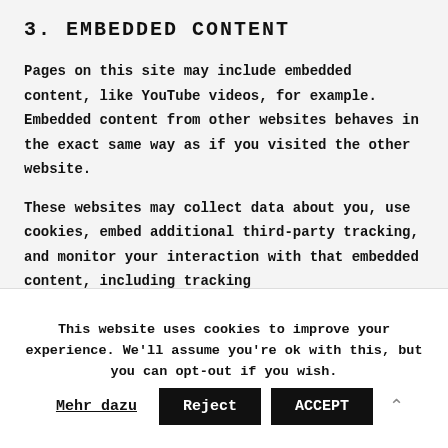3. EMBEDDED CONTENT
Pages on this site may include embedded content, like YouTube videos, for example. Embedded content from other websites behaves in the exact same way as if you visited the other website.
These websites may collect data about you, use cookies, embed additional third-party tracking, and monitor your interaction with that embedded content, including tracking
This website uses cookies to improve your experience. We'll assume you're ok with this, but you can opt-out if you wish.
Mehr dazu
Reject
ACCEPT